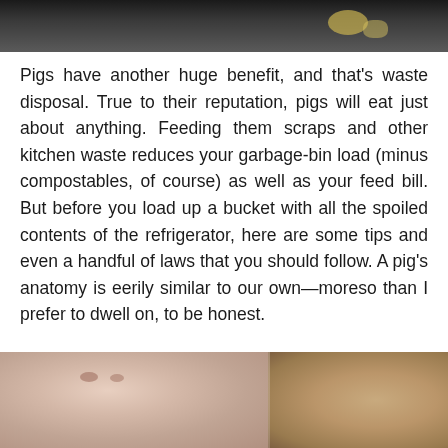[Figure (photo): Top portion of a photo showing dark soil/ground with some yellow food scraps visible, partial view of a pig or animal near the ground.]
Pigs have another huge benefit, and that's waste disposal. True to their reputation, pigs will eat just about anything. Feeding them scraps and other kitchen waste reduces your garbage-bin load (minus compostables, of course) as well as your feed bill. But before you load up a bucket with all the spoiled contents of the refrigerator, here are some tips and even a handful of laws that you should follow. A pig's anatomy is eerily similar to our own—moreso than I prefer to dwell on, to be honest.
[Figure (photo): Close-up photo of a pig's snout/face showing pink skin with fine hairs. Right side shows a blurred brownish background possibly another pig or object.]